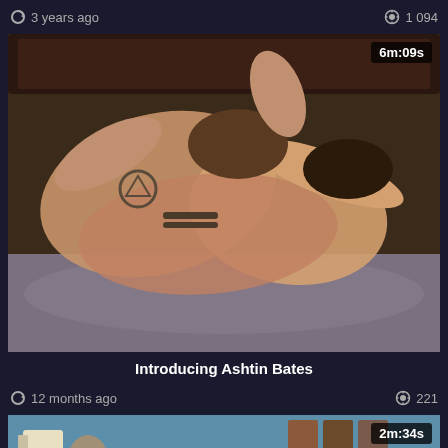3 years ago   1 094
[Figure (photo): Video thumbnail showing two people on a bed, duration badge 6m:09s]
Introducing Ashtin Bates
12 months ago   221
[Figure (photo): Partial video thumbnail with blue background, duration badge 2m:34s]